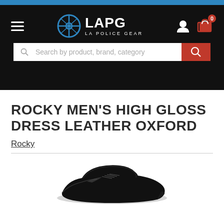[Figure (screenshot): LA Police Gear (LAPG) website header with navigation bar, logo, cart icon, and search bar on black background]
ROCKY MEN'S HIGH GLOSS DRESS LEATHER OXFORD
Rocky
[Figure (photo): Partial view of a black high gloss dress leather oxford shoe]